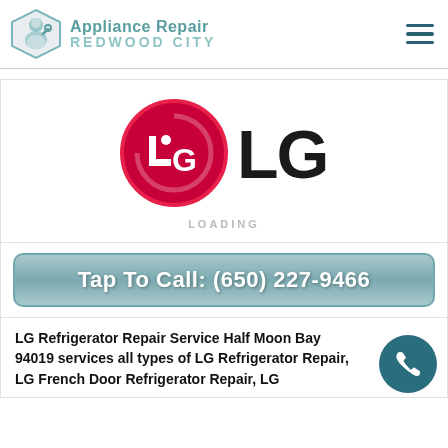[Figure (logo): Appliance Repair Redwood City logo with technician icon and teal text]
[Figure (logo): LG brand logo — red circle with LG text in white, and bold black LG lettering, with LOADING text below]
Tap To Call: (650) 227-9466
LG Refrigerator Repair Service Half Moon 94019 services all types of LG Refrigerator Repair, LG French Door Refrigerator Repair, LG